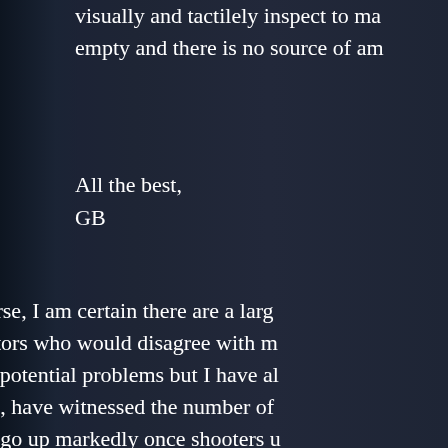visually and tactilely inspect to make sure it is empty and there is no source of am
All the best,
GB
Of course, I am certain there are a large number of instructors who would disagree with me and that could lead to potential problems but I have always, like me, have witnessed the number of shooters who extract go up markedly once shooters u... began using the press check to determi...